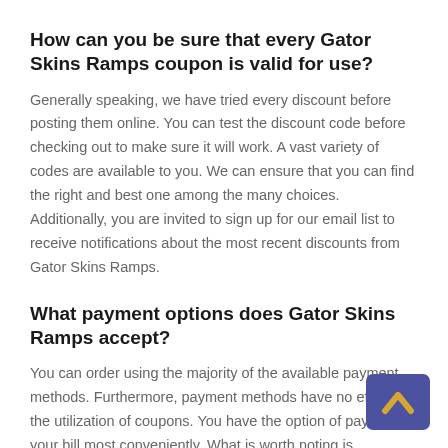How can you be sure that every Gator Skins Ramps coupon is valid for use?
Generally speaking, we have tried every discount before posting them online. You can test the discount code before checking out to make sure it will work. A vast variety of codes are available to you. We can ensure that you can find the right and best one among the many choices. Additionally, you are invited to sign up for our email list to receive notifications about the most recent discounts from Gator Skins Ramps.
What payment options does Gator Skins Ramps accept?
You can order using the majority of the available payment methods. Furthermore, payment methods have no effect on the utilization of coupons. You have the option of paying your bill most conveniently. What is worth noting is
[Figure (other): A scroll-to-top button: dark blue/purple rounded rectangle with a gold upward-pointing chevron/arrow icon]